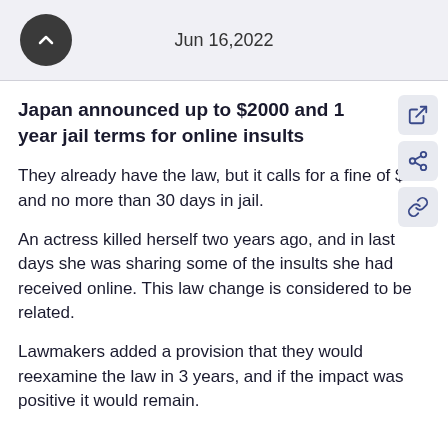Jun 16,2022
Japan announced up to $2000 and 1 year jail terms for online insults
They already have the law, but it calls for a fine of $75 and no more than 30 days in jail.
An actress killed herself two years ago, and in last days she was sharing some of the insults she had received online. This law change is considered to be related.
Lawmakers added a provision that they would reexamine the law in 3 years, and if the impact was positive it would remain.